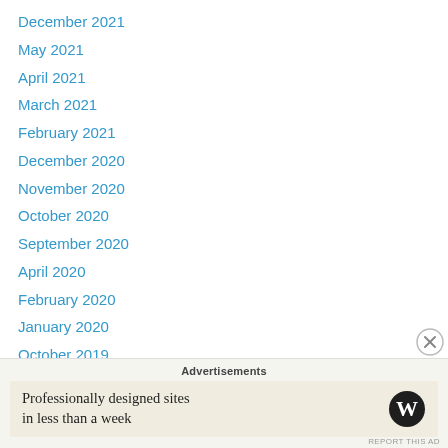December 2021
May 2021
April 2021
March 2021
February 2021
December 2020
November 2020
October 2020
September 2020
April 2020
February 2020
January 2020
October 2019
March 2019
September 2018
May 2017
Advertisements
Professionally designed sites in less than a week